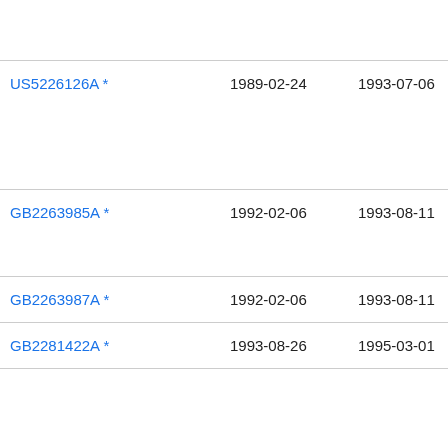| Patent | Filing Date | Publication Date | Assignee |
| --- | --- | --- | --- |
| US5226126A * | 1989-02-24 | 1993-07-06 | Ne: Mic |
| GB2263985A * | 1992-02-06 | 1993-08-11 | Inte |
| GB2263987A * | 1992-02-06 | 1993-08-11 | Inte |
| GB2281422A * | 1993-08-26 | 1995-03-01 | Inte |